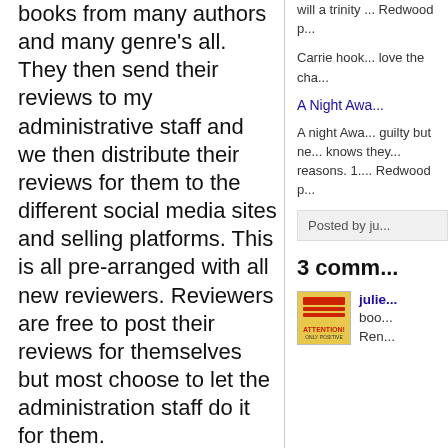books from many authors and many genre's all. They then send their reviews to my administrative staff and we then distribute their reviews for them to the different social media sites and selling platforms. This is all pre-arranged with all new reviewers. Reviewers are free to post their reviews for themselves but most choose to let the administration staff do it for them.
Negativity is not tolerated on the site. Only books that the reviewers deem a 3 star or better is advertised by this blog. If a book is not up to those standards, we try
will a trinity ... Redwood p...
Carrie hook... love the cha...
A Night Awa...
A night Awa... guilty but ne... knows they... reasons. 1.... Redwood p...
Posted by ju...
3 comm...
julie... boo... Ren...